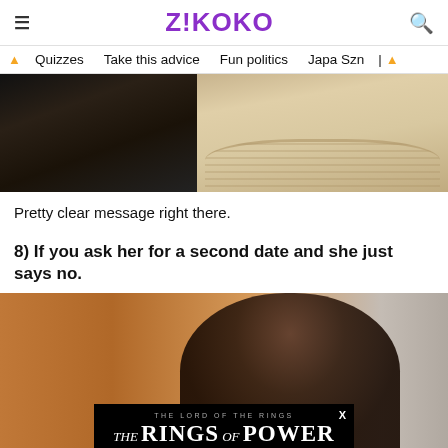Z!KOKO
Quizzes  Take this advice  Fun politics  Japa Szn
[Figure (photo): Two people photo, left side shows a person in dark clothing, right side shows someone in cream/beige lace outfit]
Pretty clear message right there.
8) If you ask her for a second date and she just says no.
[Figure (photo): Man in pink/red patterned outfit looking serious, with an advertisement overlay at the bottom showing The Lord of the Rings: The Rings of Power]